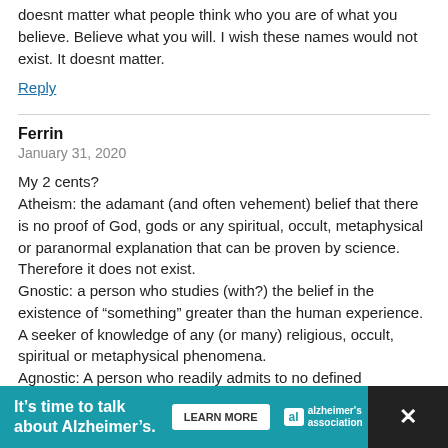doesnt matter what people think who you are of what you believe. Believe what you will. I wish these names would not exist. It doesnt matter.
Reply
Ferrin
January 31, 2020
My 2 cents?
Atheism: the adamant (and often vehement) belief that there is no proof of God, gods or any spiritual, occult, metaphysical or paranormal explanation that can be proven by science. Therefore it does not exist.
Gnostic: a person who studies (with?) the belief in the existence of “something” greater than the human experience. A seeker of knowledge of any (or many) religious, occult, spiritual or metaphysical phenomena.
Agnostic: A person who readily admits to no defined knowledge or understanding,( or
[Figure (infographic): Advertisement bar: 'It's time to talk about Alzheimer's.' with LEARN MORE button and Alzheimer's Association logo]